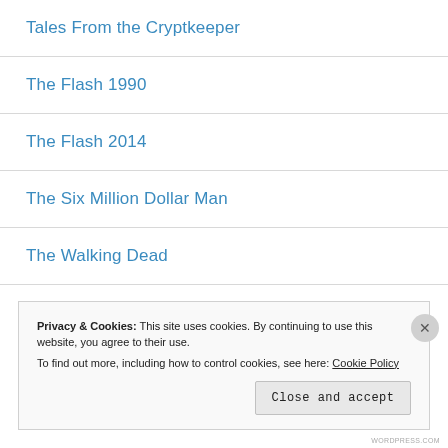Tales From the Cryptkeeper
The Flash 1990
The Flash 2014
The Six Million Dollar Man
The Walking Dead
Tiger and Bunny
Privacy & Cookies: This site uses cookies. By continuing to use this website, you agree to their use.
To find out more, including how to control cookies, see here: Cookie Policy
Close and accept